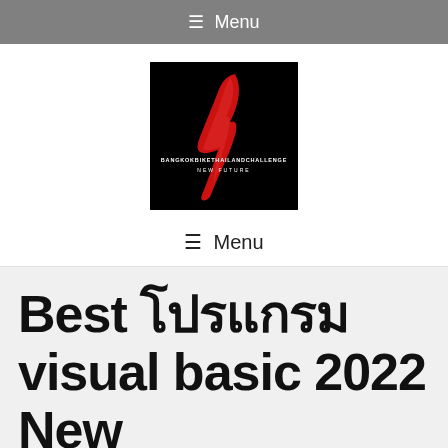≡ Menu
[Figure (logo): Bangkok Bike Thailand Challenge logo — black background with red lightning bolt / swoosh design and text 'BANGKOKBIKETHAILANDCHALLENGE' and 'NEW FUTURE']
≡ Menu
Best โปรแกรม visual basic 2022 New
23/06/2022 by Bike Thai